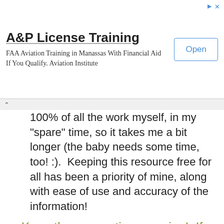[Figure (other): Advertisement banner for A&P License Training. Shows title 'A&P License Training', subtitle 'FAA Aviation Training in Manassas With Financial Aid If You Qualify. Aviation Institute', and an 'Open' button. Small ad icons in top right corner.]
100% of all the work myself, in my "spare" time, so it takes me a bit longer (the baby needs some time, too! :).  Keeping this resource free for all has been a priority of mine, along with ease of use and accuracy of the information!
Keep the suggestions coming!  If people want it, I'll do it!
Looking for a farm or ranch for fresh meat, milk or eggs in United States. Farms and ranches offering organic or sustainably grown produce are identified by the words "organic" and/or "sustainable" in Green, next to their name. If they have a website, the name will be in blue and underlined; click on it and it will open their website.
And if you know of one I missed and want to add it or correct the